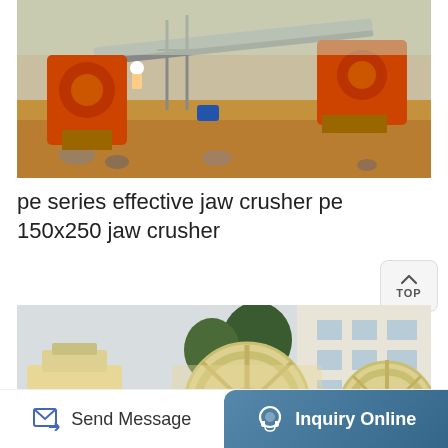[Figure (photo): Aerial view of industrial jaw crusher and conveyor equipment at a construction/mining site, with orange machinery visible]
pe series effective jaw crusher pe 150x250 jaw crusher
[Figure (photo): Close-up of cream/beige colored industrial sand washing machines with large circular wheels, mounted on blue bases, in a yard near a building]
Send Message    Inquiry Online